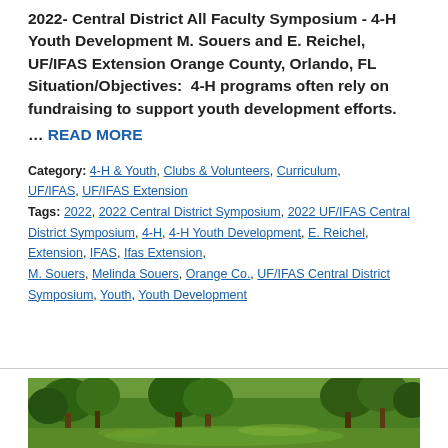2022- Central District All Faculty Symposium - 4-H Youth Development M. Souers and E. Reichel, UF/IFAS Extension Orange County, Orlando, FL Situation/Objectives:  4-H programs often rely on fundraising to support youth development efforts.
… READ MORE
Category: 4-H & Youth, Clubs & Volunteers, Curriculum, UF/IFAS, UF/IFAS Extension
Tags: 2022, 2022 Central District Symposium, 2022 UF/IFAS Central District Symposium, 4-H, 4-H Youth Development, E. Reichel, Extension, IFAS, Ifas Extension, M. Souers, Melinda Souers, Orange Co., UF/IFAS Central District Symposium, Youth, Youth Development
[Figure (photo): Outdoor nature/park photo showing trees and green grass/lawn area]